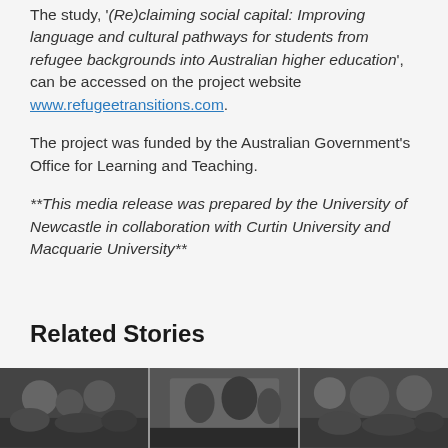The study, '(Re)claiming social capital: Improving language and cultural pathways for students from refugee backgrounds into Australian higher education', can be accessed on the project website www.refugeetransitions.com.
The project was funded by the Australian Government's Office for Learning and Teaching.
**This media release was prepared by the University of Newcastle in collaboration with Curtin University and Macquarie University**
Related Stories
[Figure (photo): Black and white photograph showing groups of people, appearing to be refugees or migrants, viewed through windows or doors of a vehicle]